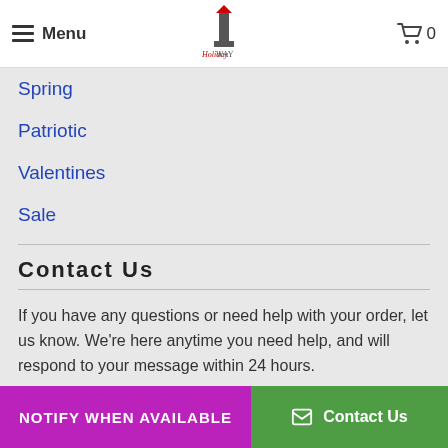Menu | Holiday Way logo | Cart 0
Spring
Patriotic
Valentines
Sale
Contact Us
If you have any questions or need help with your order, let us know. We're here anytime you need help, and will respond to your message within 24 hours.
Email Us: support@oneholidayway.com
NOTIFY WHEN AVAILABLE
Contact Us